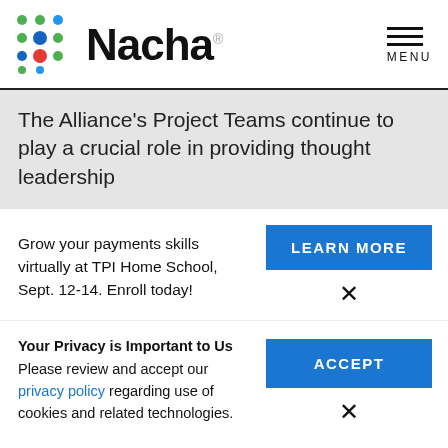[Figure (logo): Nacha logo with colorful dot grid pattern and wordmark]
The Alliance's Project Teams continue to play a crucial role in providing thought leadership
Grow your payments skills virtually at TPI Home School, Sept. 12-14. Enroll today!
LEARN MORE
Your Privacy is Important to Us
Please review and accept our privacy policy regarding use of cookies and related technologies.
ACCEPT